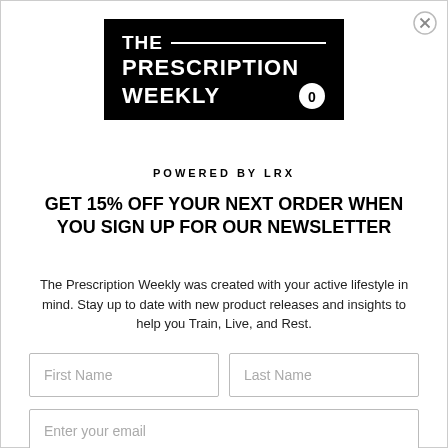[Figure (logo): The Prescription Weekly logo — white bold text on black background with a horizontal rule next to THE, and a circular icon next to WEEKLY. Below: POWERED BY LRX in bold spaced caps.]
GET 15% OFF YOUR NEXT ORDER WHEN YOU SIGN UP FOR OUR NEWSLETTER
The Prescription Weekly was created with your active lifestyle in mind. Stay up to date with new product releases and insights to help you Train, Live, and Rest.